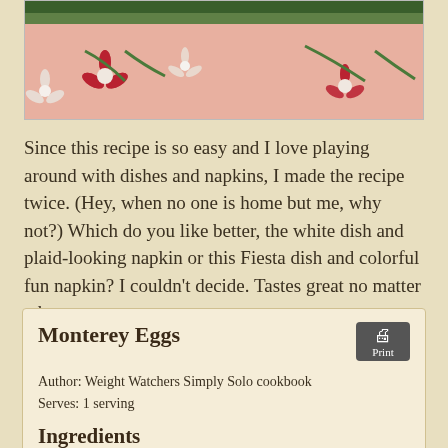[Figure (photo): Close-up photo of a pink floral napkin with red and white flower pattern and green stems, with a green dish visible at the top edge.]
Since this recipe is so easy and I love playing around with dishes and napkins, I made the recipe twice.  (Hey, when no one is home but me, why not?)  Which do you like better, the white dish and plaid-looking napkin or this Fiesta dish and colorful fun napkin?  I couldn't decide.  Tastes great no matter what.
Monterey Eggs
Author: Weight Watchers Simply Solo cookbook
Serves: 1 serving
Ingredients
½ cup fat-free green salsa
2 large eggs
2 Tablespoons shredded low-fat Monterey